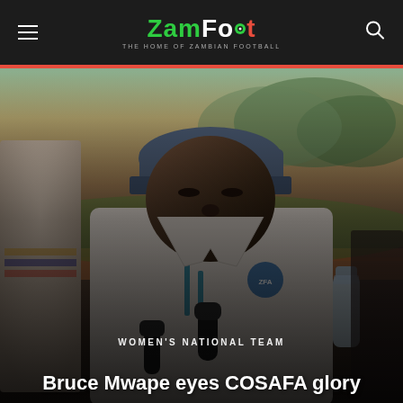ZamFoot — The home of Zambian football
[Figure (photo): A man wearing a blue cap and white jacket with Zambia Football Association badge speaking into a microphone at a football ground. A water bottle is visible in the background. The setting appears to be an outdoor sports facility.]
WOMEN'S NATIONAL TEAM
Bruce Mwape eyes COSAFA glory